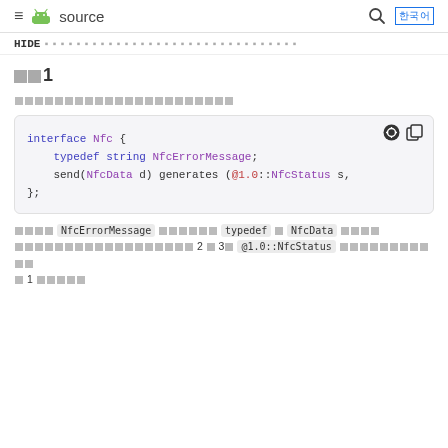≡ 🤖 source  🔍  한국어
HIDE ▪▪▪▪▪▪▪▪▪▪▪▪▪▪▪▪▪▪▪▪▪▪▪▪▪▪
□□1
□□□□□□□□□□□□□□□□□□□□□□
[Figure (screenshot): Code block showing HIDL interface definition: interface Nfc { typedef string NfcErrorMessage; send(NfcData d) generates (@1.0::NfcStatus s, }; with dark/copy icons]
□□□□ NfcErrorMessage □□□□□□ typedef □ NfcData □□□□□□□□□□□□□□□□□□□□□□□ 2 □ 3□ @1.0::NfcStatus □□□□□□□□□□□ □ 1 □□□□□